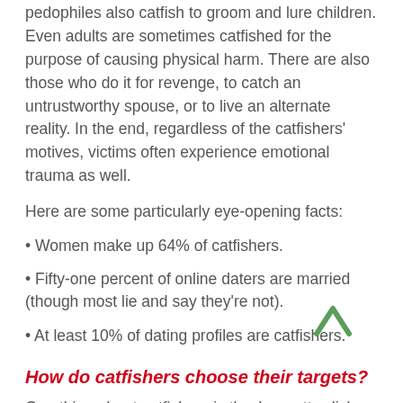pedophiles also catfish to groom and lure children. Even adults are sometimes catfished for the purpose of causing physical harm. There are also those who do it for revenge, to catch an untrustworthy spouse, or to live an alternate reality. In the end, regardless of the catfishers' motives, victims often experience emotional trauma as well.
Here are some particularly eye-opening facts:
• Women make up 64% of catfishers.
• Fifty-one percent of online daters are married (though most lie and say they're not).
• At least 10% of dating profiles are catfishers.
How do catfishers choose their targets?
One thing about catfishers is they're pretty slick